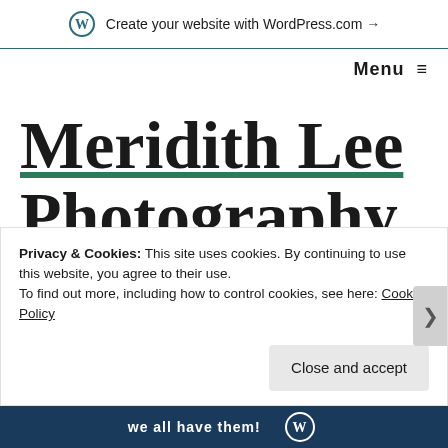Create your website with WordPress.com →
Menu ☰
Meridith Lee Photography
Privacy & Cookies: This site uses cookies. By continuing to use this website, you agree to their use.
To find out more, including how to control cookies, see here: Cookie Policy
Close and accept
we all have them!